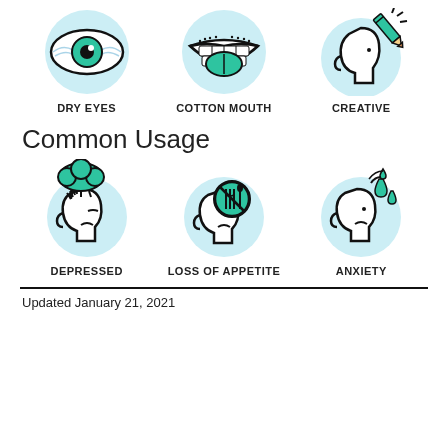[Figure (illustration): Three icons in a row: Dry Eyes (eye with veins and teal iris on light blue circle), Cotton Mouth (mouth with teal tongue on light blue circle), Creative (head profile with pencil on light blue circle)]
DRY EYES    COTTON MOUTH    CREATIVE
Common Usage
[Figure (illustration): Three icons in a row: Depressed (head profile with teal cloud and stress marks on light blue circle), Loss of Appetite (head profile with teal fork/knife no-food symbol on light blue circle), Anxiety (head profile with sweat drops on light blue circle)]
DEPRESSED    LOSS OF APPETITE    ANXIETY
Updated January 21, 2021